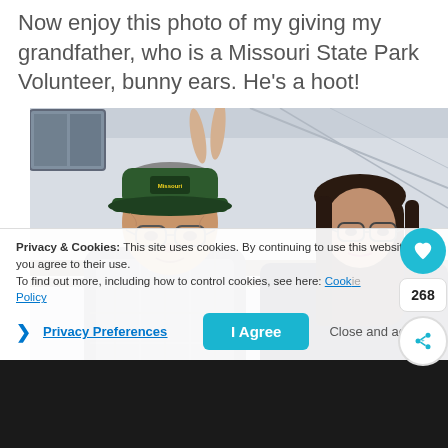Now enjoy this photo of my giving my grandfather, who is a Missouri State Park Volunteer, bunny ears. He's a hoot!
[Figure (photo): Photo of an elderly man wearing a green Missouri State Park Volunteer cap and a plaid shirt, standing next to a young woman with glasses and long dark hair, in front of an RV or trailer. Someone is giving the man bunny ears (two fingers above his head).]
Privacy & Cookies: This site uses cookies. By continuing to use this website, you agree to their use. To find out more, including how to control cookies, see here: Cookie Policy
Privacy Preferences
I Agree
Close and acce...
268